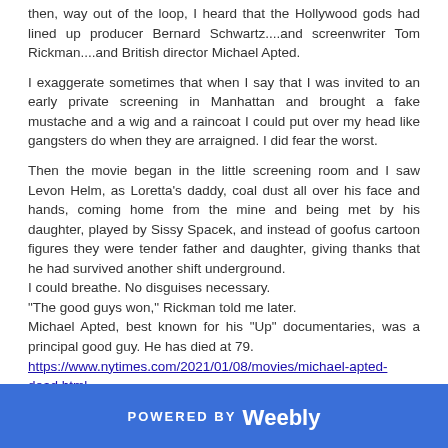then, way out of the loop, I heard that the Hollywood gods had lined up producer Bernard Schwartz....and screenwriter Tom Rickman....and British director Michael Apted.

I exaggerate sometimes that when I say that I was invited to an early private screening in Manhattan and brought a fake mustache and a wig and a raincoat I could put over my head like gangsters do when they are arraigned. I did fear the worst.
Then the movie began in the little screening room and I saw Levon Helm, as Loretta's daddy, coal dust all over his face and hands, coming home from the mine and being met by his daughter, played by Sissy Spacek, and instead of goofus cartoon figures they were tender father and daughter, giving thanks that he had survived another shift underground.
I could breathe. No disguises necessary.
"The good guys won," Rickman told me later.
Michael Apted, best known for his "Up" documentaries, was a principal good guy. He has died at 79.
https://www.nytimes.com/2021/01/08/movies/michael-apted-dead.html
POWERED BY weebly